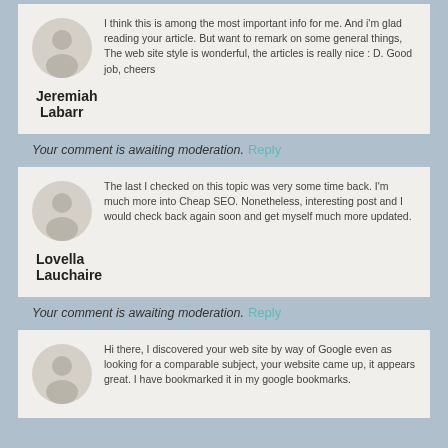I think this is among the most important info for me. And i'm glad reading your article. But want to remark on some general things, The web site style is wonderful, the articles is really nice : D. Good job, cheers
Jeremiah Labarr
Your comment is awaiting moderation.
Reply
The last I checked on this topic was very some time back. I'm much more into Cheap SEO. Nonetheless, interesting post and I would check back again soon and get myself much more updated.
Lovella Lauchaire
Your comment is awaiting moderation.
Reply
Hi there, I discovered your web site by way of Google even as looking for a comparable subject, your website came up, it appears great. I have bookmarked it in my google bookmarks.